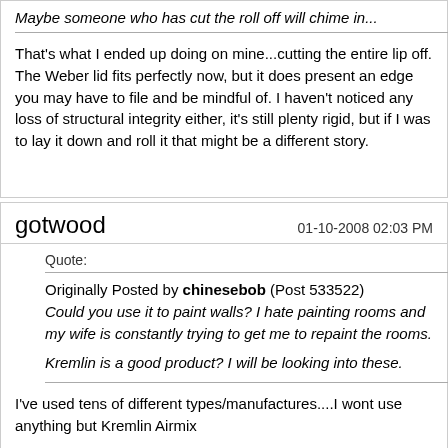Maybe someone who has cut the roll off will chime in...
That's what I ended up doing on mine...cutting the entire lip off. The Weber lid fits perfectly now, but it does present an edge you may have to file and be mindful of. I haven't noticed any loss of structural integrity either, it's still plenty rigid, but if I was to lay it down and roll it that might be a different story.
gotwood
01-10-2008 02:03 PM
Quote:
Originally Posted by chinesebob (Post 533522) Could you use it to paint walls? I hate painting rooms and my wife is constantly trying to get me to repaint the rooms. Kremlin is a good product? I will be looking into these.
I've used tens of different types/manufactures....I wont use anything but Kremlin Airmix
But you would not use this to paint walls with, they do have other products though